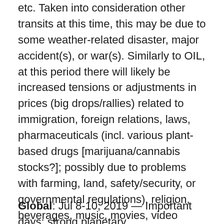etc. Taken into consideration other transits at this time, this may be due to some weather-related disaster, major accident(s), or war(s). Similarly to OIL, at this period there will likely be increased tensions or adjustments in prices (big drops/rallies) related to immigration, foreign relations, laws, pharmaceuticals (incl. various plant-based drugs [marijuana/cannabis stocks?]; possibly due to problems with farming, land, safety/security, or governmental regulations), religion, beverages, music, movies, video equipment, etc. Lastly, there will likely be increased news about banks and savings — there may be concerns about the safety of investments, issues with real estate, concerns about governmental controls/restrictions/regulations, concerns about safety (due to wars/attacks/quakes/etc.), etc.
Global: Jul 8-10, 2019 — Important days; strong planetary